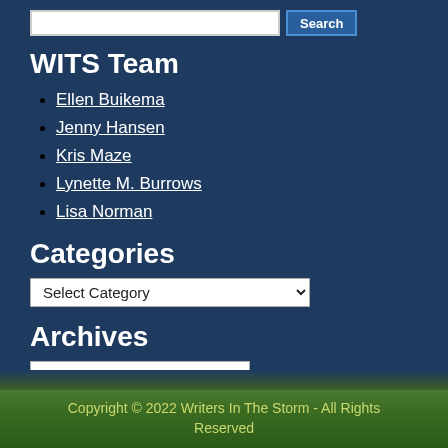WITS Team
Ellen Buikema
Jenny Hansen
Kris Maze
Lynette M. Burrows
Lisa Norman
Categories
Archives
Copyright © 2022 Writers In The Storm - All Rights Reserved